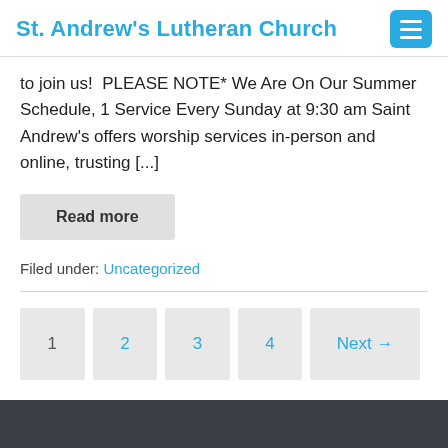St. Andrew's Lutheran Church
to join us!  PLEASE NOTE* We Are On Our Summer Schedule, 1 Service Every Sunday at 9:30 am Saint Andrew's offers worship services in-person and online, trusting [...]
Read more
Filed under: Uncategorized
1  2  3  4  Next →